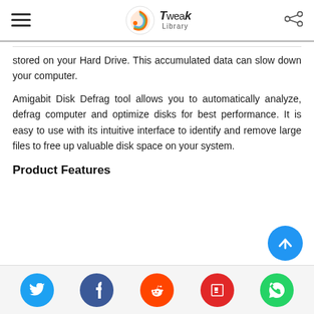Tweak Library
stored on your Hard Drive. This accumulated data can slow down your computer.
Amigabit Disk Defrag tool allows you to automatically analyze, defrag computer and optimize disks for best performance. It is easy to use with its intuitive interface to identify and remove large files to free up valuable disk space on your system.
Product Features
[Figure (other): Social sharing footer with icons for Twitter, Facebook, Reddit, Flipboard, and WhatsApp; plus a blue scroll-to-top button]